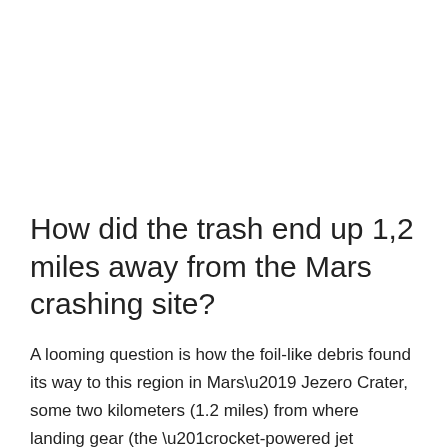How did the trash end up 1,2 miles away from the Mars crashing site?
A looming question is how the foil-like debris found its way to this region in Mars’ Jezero Crater, some two kilometers (1.2 miles) from where landing gear (the “rocket-powered jet pack”) crashed in the Martian desert.